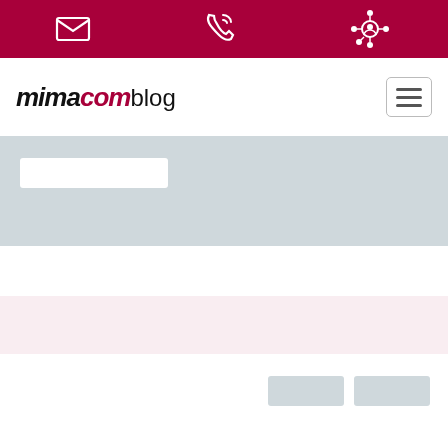[Figure (screenshot): Dark red top navigation bar with three white icons: envelope/email icon, phone/call icon, and a person/network icon]
[Figure (logo): MIMACOMblog logo in bold italic font, MIMA in black, COM in dark red, blog in regular black]
[Figure (screenshot): Hamburger menu button (three horizontal lines) in the top-right of the navigation bar]
[Figure (screenshot): Light gray-blue search/hero band with a white rectangular search box on the left]
[Figure (screenshot): White content area with two light gray placeholder buttons in the bottom right]